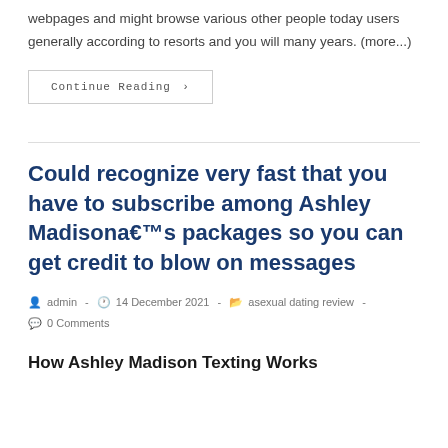webpages and might browse various other people today users generally according to resorts and you will many years. (more...)
Continue Reading ›
Could recognize very fast that you have to subscribe among Ashley Madisona€™s packages so you can get credit to blow on messages
admin  -  14 December 2021  -  asexual dating review  -  0 Comments
How Ashley Madison Texting Works